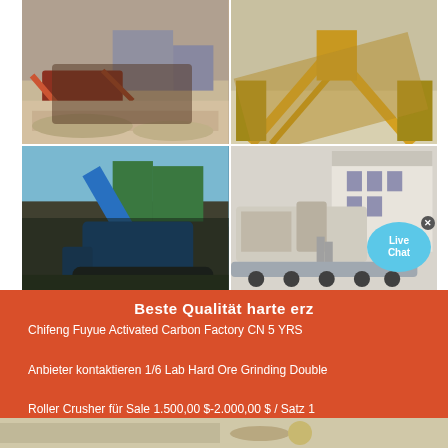[Figure (photo): 2x2 grid of photos showing industrial crushing/mining equipment and machinery. Top-left: outdoor quarry/crushing plant with red machinery. Top-right: aerial view of yellow conveyor belt equipment at mining site. Bottom-left: blue mobile crushing/screening plant on tracks. Bottom-right: white industrial building with large crushing equipment on trailer.]
Beste Qualität harte erz
Chifeng Fuyue Activated Carbon Factory CN 5 YRS
Anbieter kontaktieren 1/6 Lab Hard Ore Grinding Double Roller Crusher für Sale 1.500,00 $-2.000,00 $ / Satz 1 Satz (Mindestbestellung) ...
[Figure (photo): Partial bottom strip showing another industrial/quarry photo.]